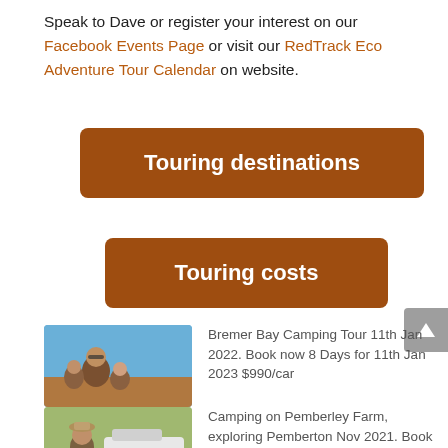Speak to Dave or register your interest on our Facebook Events Page or visit our RedTrack Eco Adventure Tour Calendar on website.
Touring destinations
Touring costs
[Figure (photo): Family selfie photo with man wearing sunglasses and two children against a blue sky]
Bremer Bay Camping Tour 11th Jan 2022. Book now 8 Days for 11th Jan 2023 $990/car
[Figure (photo): Man wearing a hat near a white vehicle in outdoor setting]
Camping on Pemberley Farm, exploring Pemberton Nov 2021. Book now 4 Days Nov 2022